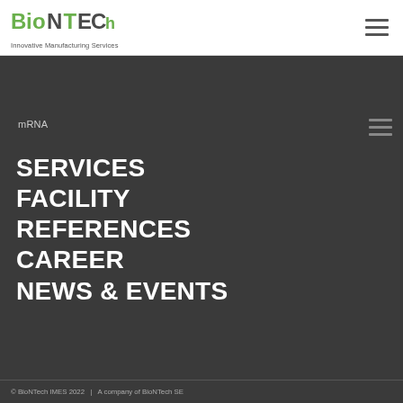[Figure (logo): BioNTech IMES logo with text 'Innovative Manufacturing Services']
mRNA
SERVICES
FACILITY
REFERENCES
CAREER
NEWS & EVENTS
© BioNTech IMES 2022  |  A company of BioNTech SE